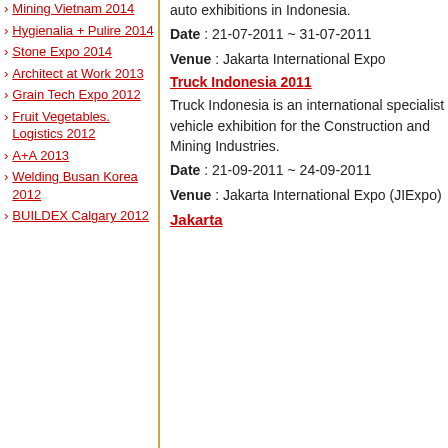Mining Vietnam 2014
Hygienalia + Pulire 2014
Stone Expo 2014
Architect at Work 2013
Grain Tech Expo 2012
Fruit Vegetables. Logistics 2012
A+A 2013
Welding Busan Korea 2012
BUILDEX Calgary 2012
auto exhibitions in Indonesia.
Date : 21-07-2011 ~ 31-07-2011
Venue : Jakarta International Expo
Truck Indonesia 2011
Truck Indonesia is an international specialist vehicle exhibition for the Construction and Mining Industries.
Date : 21-09-2011 ~ 24-09-2011
Venue : Jakarta International Expo (JIExpo)
Jakarta